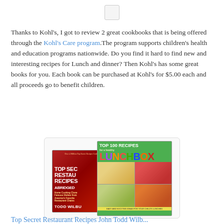[Figure (other): Small square icon/placeholder at top center of page]
Thanks to Kohl's, I got to review 2 great cookbooks that is being offered through the Kohl's Care program.The program supports children's health and education programs nationwide. Do you find it hard to find new and interesting recipes for Lunch and dinner? Then Kohl's has some great books for you. Each book can be purchased at Kohl's for $5.00 each and all proceeds go to benefit children.
[Figure (photo): Two cookbook covers: 'Top Secret Restaurant Recipes Abridged' by Todd Wilbur and 'Top 100 Recipes for a Healthy Lunchbox', shown overlapping in a rounded rectangle frame]
Top Secret Restaurant Recipes John Todd Wilb...